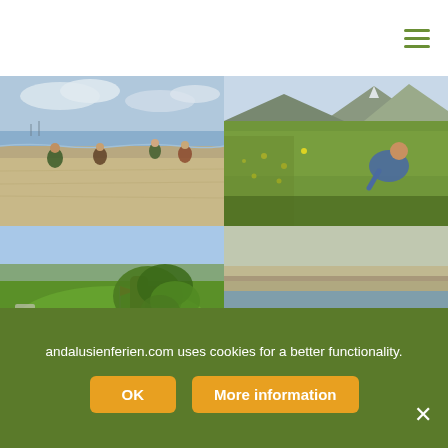[Figure (photo): Children playing on a sandy beach near the water's edge, cloudy sky, industrial structures visible in distance]
[Figure (photo): Person bending over in a green meadow with yellow wildflowers, mountains in background]
[Figure (photo): Golf course with lush green fairway, sand bunker, and large twisted olive tree in foreground under blue sky]
[Figure (photo): Several kayakers paddling colorful kayaks on a calm river or canal with flat landscape]
andalusienferien.com uses cookies for a better functionality.
OK
More information